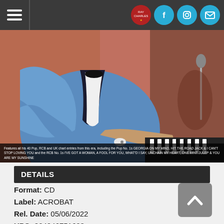Navigation header with hamburger menu and social icons (logo, Facebook, Instagram, Email)
[Figure (photo): A person in a blue tuxedo jacket with black trim playing piano, white dress shirt with cufflinks visible, reddish curtain background. Overlay caption text at bottom.]
Features all his 40 Pop, RCB and UK chart entries from this era, including the Pop No. 1s GEORGIA ON MY MIND, HIT THE ROAD JACK & I CAN'T STOP LOVING YOU and the RCB No. 1s I'VE GOT A WOMAN, A FOOL FOR YOU, WHAT'D I SAY, UNCHAIN MY HEART, ONE MINT JULEP & YOU ARE MY SUNSHINE
DETAILS
Format: CD
Label: ACROBAT
Rel. Date: 05/06/2022
UPC: 824046751623